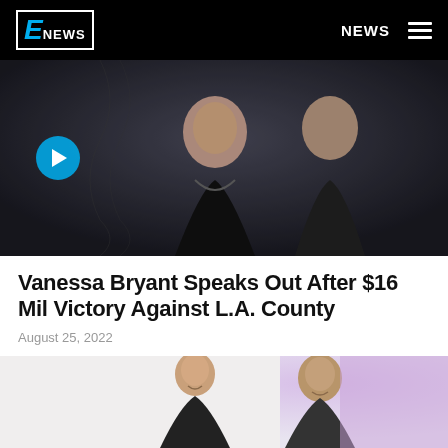E! NEWS | NEWS
[Figure (photo): Photo of Vanessa Bryant and Kobe Bryant at an event, dark background]
Vanessa Bryant Speaks Out After $16 Mil Victory Against L.A. County
August 25, 2022
[Figure (photo): Photo of Vanessa Bryant smiling with a man in a suit, light/purple background]